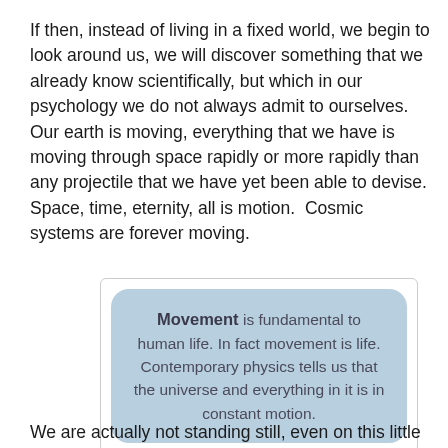If then, instead of living in a fixed world, we begin to look around us, we will discover something that we already know scientifically, but which in our psychology we do not always admit to ourselves.  Our earth is moving, everything that we have is moving through space rapidly or more rapidly than any projectile that we have yet been able to devise. Space, time, eternity, all is motion.  Cosmic systems are forever moving.
Movement is fundamental to human life. In fact movement is life. Contemporary physics tells us that the universe and everything in it is in constant motion.
We are actually not standing still, even on this little planet